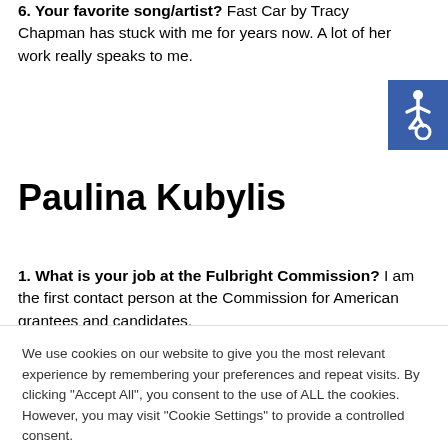6. Your favorite song/artist? Fast Car by Tracy Chapman has stuck with me for years now. A lot of her work really speaks to me.
[Figure (illustration): Accessibility icon (wheelchair symbol) on blue background in top-right corner]
Paulina Kubylis
1. What is your job at the Fulbright Commission? I am the first contact person at the Commission for American grantees and candidates.
We use cookies on our website to give you the most relevant experience by remembering your preferences and repeat visits. By clicking "Accept All", you consent to the use of ALL the cookies. However, you may visit "Cookie Settings" to provide a controlled consent.